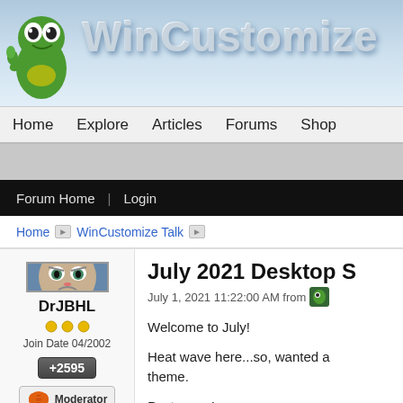[Figure (logo): WinCustomize website header with green gecko mascot and WinCustomize logo text]
Home  Explore  Articles  Forums  Shop
Forum Home | Login
Home > WinCustomize Talk >
[Figure (photo): User avatar showing a grumpy cat meme image]
DrJBHL
Join Date 04/2002
+2595
Moderator
July 2021 Desktop S
July 1, 2021 11:22:00 AM from
Welcome to July!
Heat wave here...so, wanted a theme.
Post yours!